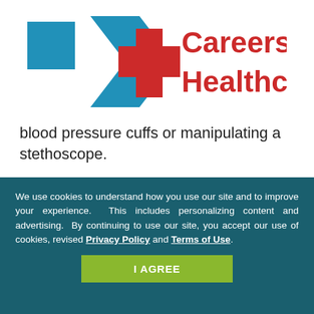[Figure (logo): Careers in Healthcare logo with blue square, blue cross/arrow shape, and red cross icon on left, with text 'Careers in Healthcare' in red and teal on right]
blood pressure cuffs or manipulating a stethoscope.
Personality
In this career in healthcare, professionals should have patience, empathy and be
We use cookies to understand how you use our site and to improve your experience. This includes personalizing content and advertising. By continuing to use our site, you accept our use of cookies, revised Privacy Policy and Terms of Use.